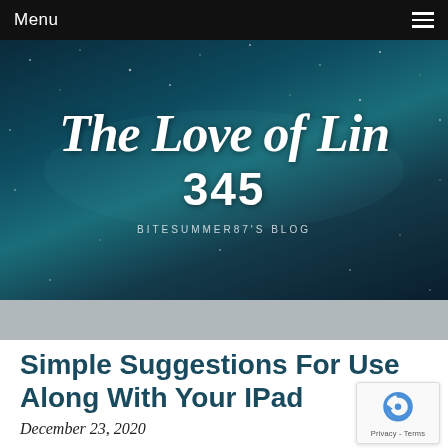Menu
[Figure (screenshot): Blog header image with starry night sky background reading 'The Love of Lin 345' with subtitle 'BITESUMMER87'S BLOG']
Simple Suggestions For Use Along With Your IPad
December 23, 2020